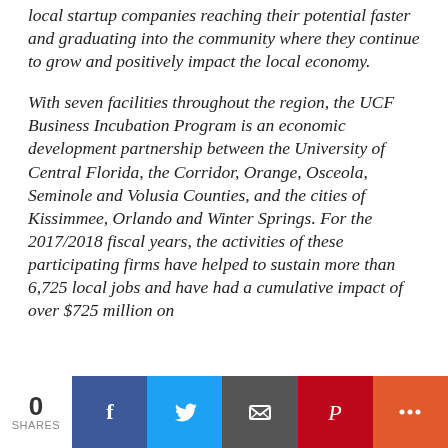local startup companies reaching their potential faster and graduating into the community where they continue to grow and positively impact the local economy.
With seven facilities throughout the region, the UCF Business Incubation Program is an economic development partnership between the University of Central Florida, the Corridor, Orange, Osceola, Seminole and Volusia Counties, and the cities of Kissimmee, Orlando and Winter Springs. For the 2017/2018 fiscal years, the activities of these participating firms have helped to sustain more than 6,725 local jobs and have had a cumulative impact of over $725 million on
0 SHARES | Facebook | Twitter | Email | Pinterest | More